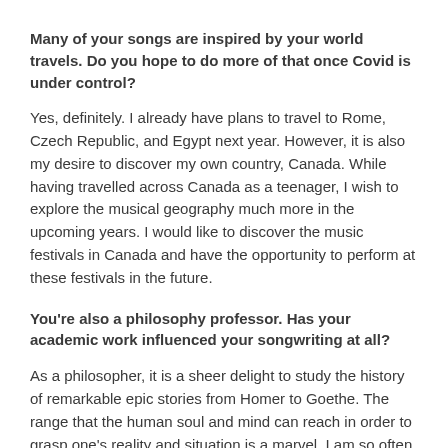Many of your songs are inspired by your world travels. Do you hope to do more of that once Covid is under control?
Yes, definitely. I already have plans to travel to Rome, Czech Republic, and Egypt next year. However, it is also my desire to discover my own country, Canada. While having travelled across Canada as a teenager, I wish to explore the musical geography much more in the upcoming years. I would like to discover the music festivals in Canada and have the opportunity to perform at these festivals in the future.
You're also a philosophy professor. Has your academic work influenced your songwriting at all?
As a philosopher, it is a sheer delight to study the history of remarkable epic stories from Homer to Goethe. The range that the human soul and mind can reach in order to grasp one's reality and situation is a marvel. I am so often inspired